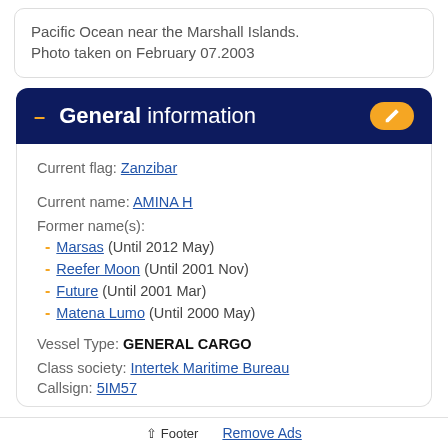Pacific Ocean near the Marshall Islands. Photo taken on February 07.2003
General information
Current flag: Zanzibar
Current name: AMINA H
Former name(s):
Marsas (Until 2012 May)
Reefer Moon (Until 2001 Nov)
Future (Until 2001 Mar)
Matena Lumo (Until 2000 May)
Vessel Type: GENERAL CARGO
Class society: Intertek Maritime Bureau
Callsign: 5IM57
Footer   Remove Ads